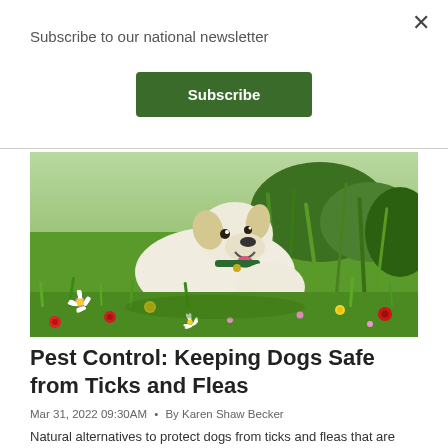Subscribe to our national newsletter
Subscribe
[Figure (photo): A happy white dog with a green collar lying in a field of colorful wildflowers including daisies, yellow dandelions, and red flowers, with green grass in the background.]
Pest Control: Keeping Dogs Safe from Ticks and Fleas
Mar 31, 2022 09:30AM • By Karen Shaw Becker
Natural alternatives to protect dogs from ticks and fleas that are both effective and non-toxic